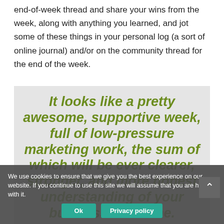end-of-week thread and share your wins from the week, along with anything you learned, and jot some of these things in your personal log (a sort of online journal) and/or on the community thread for the end of the week.
It looks like a pretty awesome, supportive week, full of low-pressure marketing work, the sum of which will be ever clearer, stronger, and more honest understanding of your business over time.
We use cookies to ensure that we give you the best experience on our website. If you continue to use this site we will assume that you are happy with it.